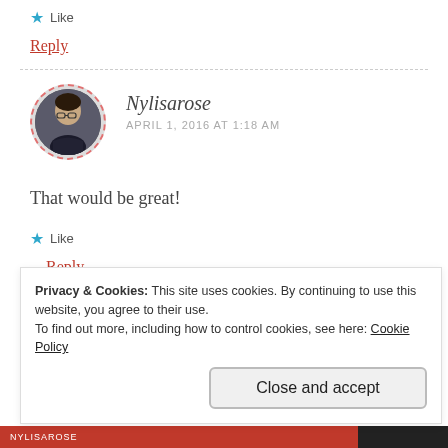Like
Reply
Nylisarose
APRIL 1, 2016 AT 1:18 AM
[Figure (photo): Circular avatar photo of user Nylisarose, woman with dark hair and glasses]
That would be great!
Like
Reply
Privacy & Cookies: This site uses cookies. By continuing to use this website, you agree to their use.
To find out more, including how to control cookies, see here: Cookie Policy
Close and accept